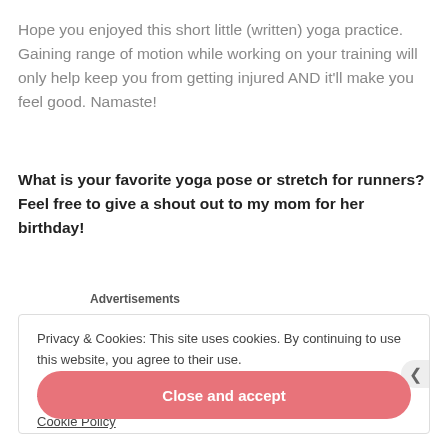Hope you enjoyed this short little (written) yoga practice. Gaining range of motion while working on your training will only help keep you from getting injured AND it'll make you feel good. Namaste!
What is your favorite yoga pose or stretch for runners? Feel free to give a shout out to my mom for her birthday!
Advertisements
Privacy & Cookies: This site uses cookies. By continuing to use this website, you agree to their use.
To find out more, including how to control cookies, see here: Cookie Policy
Close and accept